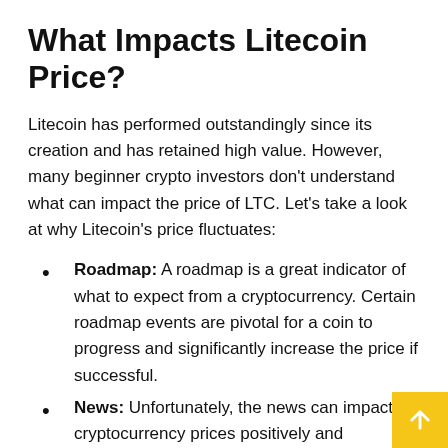What Impacts Litecoin Price?
Litecoin has performed outstandingly since its creation and has retained high value. However, many beginner crypto investors don't understand what can impact the price of LTC. Let's take a look at why Litecoin's price fluctuates:
Roadmap: A roadmap is a great indicator of what to expect from a cryptocurrency. Certain roadmap events are pivotal for a coin to progress and significantly increase the price if successful.
News: Unfortunately, the news can impact cryptocurrency prices positively and negatively. For example, world events like the Ukrainian war or the pandemic made the crypto market fall tremendously.